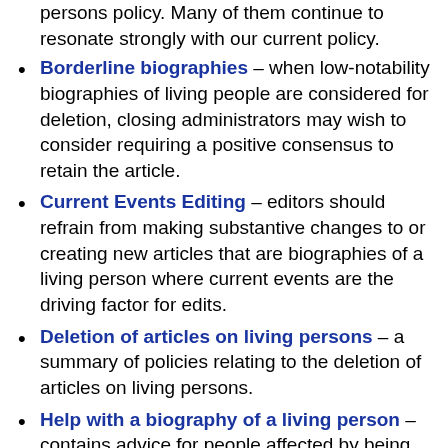persons policy. Many of them continue to resonate strongly with our current policy.
Borderline biographies – when low-notability biographies of living people are considered for deletion, closing administrators may wish to consider requiring a positive consensus to retain the article.
Current Events Editing – editors should refrain from making substantive changes to or creating new articles that are biographies of a living person where current events are the driving factor for edits.
Deletion of articles on living persons – a summary of policies relating to the deletion of articles on living persons.
Help with a biography of a living person – contains advice for people affected by being referred to in a Wikipedia article or on a talk